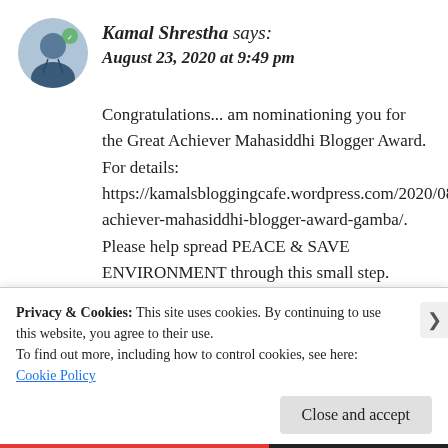Kamal Shrestha says: August 23, 2020 at 9:49 pm
Congratulations... am nominationing you for the Great Achiever Mahasiddhi Blogger Award. For details: https://kamalsbloggingcafe.wordpress.com/2020/08/08/great-achiever-mahasiddhi-blogger-award-gamba/. Please help spread PEACE & SAVE ENVIRONMENT through this small step. Thanks a lot.🙂🙂🙂🙏
Privacy & Cookies: This site uses cookies. By continuing to use this website, you agree to their use.
To find out more, including how to control cookies, see here: Cookie Policy
Close and accept